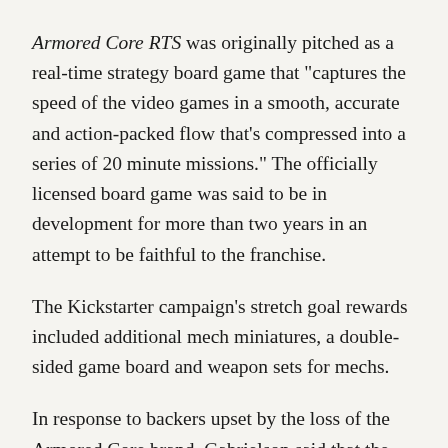Armored Core RTS was originally pitched as a real-time strategy board game that "captures the speed of the video games in a smooth, accurate and action-packed flow that's compressed into a series of 20 minute missions." The officially licensed board game was said to be in development for more than two years in an attempt to be faithful to the franchise.
The Kickstarter campaign's stretch goal rewards included additional mech miniatures, a double-sided game board and weapon sets for mechs.
In response to backers upset by the loss of the Armored Core brand, Gabrielson said that the change won't have a major impact on the way the game plays